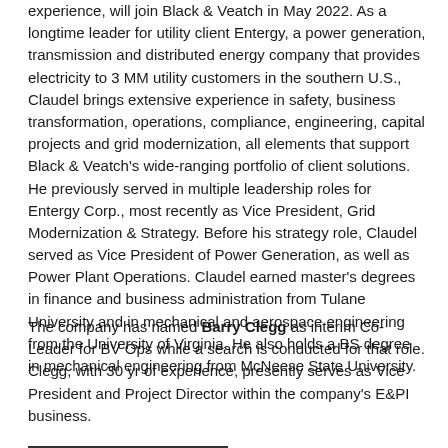experience, will join Black & Veatch in May 2022. As a longtime leader for utility client Entergy, a power generation, transmission and distributed energy company that provides electricity to 3 MM utility customers in the southern U.S., Claudel brings extensive experience in safety, business transformation, operations, compliance, engineering, capital projects and grid modernization, all elements that support Black & Veatch's wide-ranging portfolio of client solutions. He previously served in multiple leadership roles for Entergy Corp., most recently as Vice President, Grid Modernization & Strategy. Before his strategy role, Claudel served as Vice President of Power Generation, as well as Power Plant Operations. Claudel earned master's degrees in finance and business administration from Tulane University and in mechanical and aerospace engineering from the University of Virginia. He also holds a BS degree in mechanical engineering from McNeese State University.
The company has named Barry Clegg as interim Co-Leader for BV Ops while a search is conducted for that role. Clegg, with 30 yr of experience, presently serves as Vice President and Project Director within the company's E&PI business.